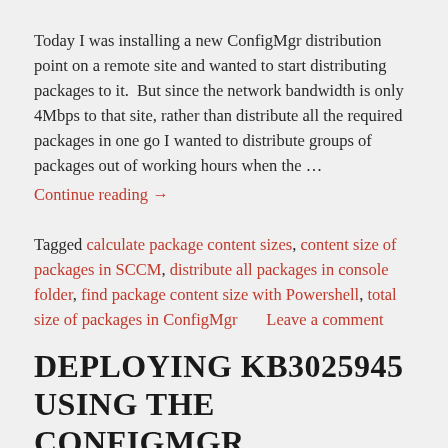Today I was installing a new ConfigMgr distribution point on a remote site and wanted to start distributing packages to it.  But since the network bandwidth is only 4Mbps to that site, rather than distribute all the required packages in one go I wanted to distribute groups of packages out of working hours when the … Continue reading →
Tagged calculate package content sizes, content size of packages in SCCM, distribute all packages in console folder, find package content size with Powershell, total size of packages in ConfigMgr      Leave a comment
DEPLOYING KB3025945 USING THE CONFIGMGR PACKAGE MODEL